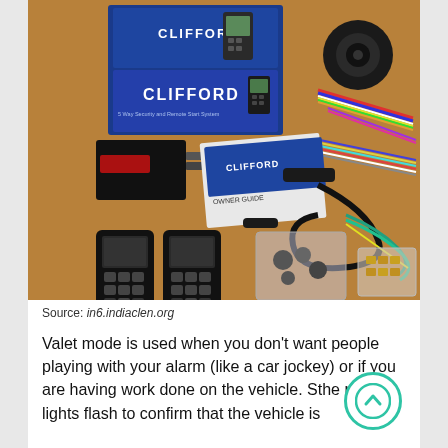[Figure (photo): Clifford car alarm system kit laid out on a brown surface, including blue Clifford branded box, alarm siren, wiring harnesses, control module, instruction manual, two two-way remotes with keychains, relay bag, and additional wiring/connectors.]
Source: in6.indiaclen.org
Valet mode is used when you don't want people playing with your alarm (like a car jockey) or if you are having work done on the vehicle. Sthe parking lights flash to confirm that the vehicle is